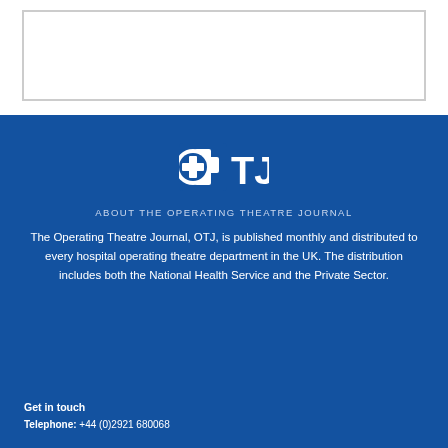[Figure (other): Empty white box with grey border at top of page]
[Figure (logo): OTJ logo — blue cross icon followed by letters OTJ in white on blue background]
ABOUT THE OPERATING THEATRE JOURNAL
The Operating Theatre Journal, OTJ, is published monthly and distributed to every hospital operating theatre department in the UK. The distribution includes both the National Health Service and the Private Sector.
Get in touch
Telephone: +44 (0)2921 680068